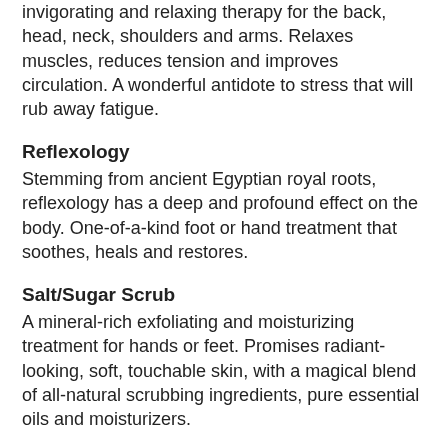invigorating and relaxing therapy for the back, head, neck, shoulders and arms. Relaxes muscles, reduces tension and improves circulation. A wonderful antidote to stress that will rub away fatigue.
Reflexology
Stemming from ancient Egyptian royal roots, reflexology has a deep and profound effect on the body. One-of-a-kind foot or hand treatment that soothes, heals and restores.
Salt/Sugar Scrub
A mineral-rich exfoliating and moisturizing treatment for hands or feet. Promises radiant-looking, soft, touchable skin, with a magical blend of all-natural scrubbing ingredients, pure essential oils and moisturizers.
Hand & Arm Hot Stone
Soothing treatment for arms and hands that provides ultimate comfort. Highly tranquil and stress-reducing produces increased blood flow and relaxed muscles as smooth, hot stones are gently glided over tired arms and hands.